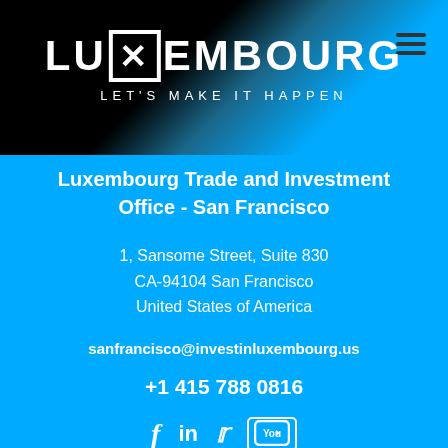[Figure (logo): Luxembourg logo with stylized X in a box, text LU X EMBOURG, tagline LET'S MAKE IT HAPPEN, on dark background]
Luxembourg Trade and Investment Office - San Francisco
1, Sansome Street, Suite 830
CA-94104 San Francisco
United States of America
sanfrancisco@investinluxembourg.us
+1 415 788 0816
[Figure (illustration): Social media icons: Facebook, LinkedIn, Twitter, YouTube]
Privacy Policy
Cookies policy